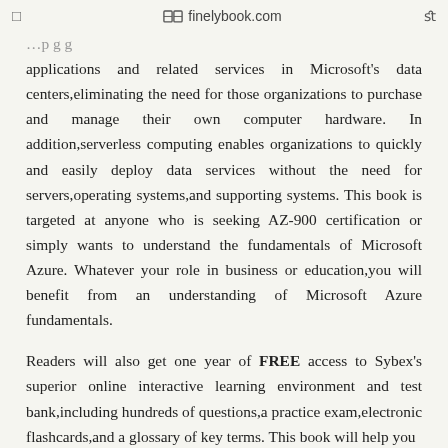□  finelybook.com  fl
applications and related services in Microsoft's data centers,eliminating the need for those organizations to purchase and manage their own computer hardware. In addition,serverless computing enables organizations to quickly and easily deploy data services without the need for servers,operating systems,and supporting systems. This book is targeted at anyone who is seeking AZ-900 certification or simply wants to understand the fundamentals of Microsoft Azure. Whatever your role in business or education,you will benefit from an understanding of Microsoft Azure fundamentals.
Readers will also get one year of FREE access to Sybex's superior online interactive learning environment and test bank,including hundreds of questions,a practice exam,electronic flashcards,and a glossary of key terms. This book will help you